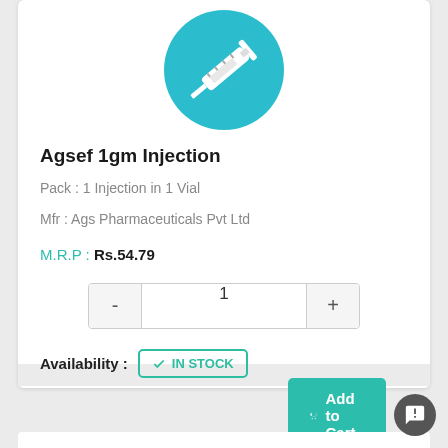[Figure (illustration): Teal/cyan circle with white syringe icon in the center, representing an injection product]
Agsef 1gm Injection
Pack : 1 Injection in 1 Vial
Mfr : Ags Pharmaceuticals Pvt Ltd
M.R.P : Rs.54.79
1
Add to Cart
Availability : IN STOCK